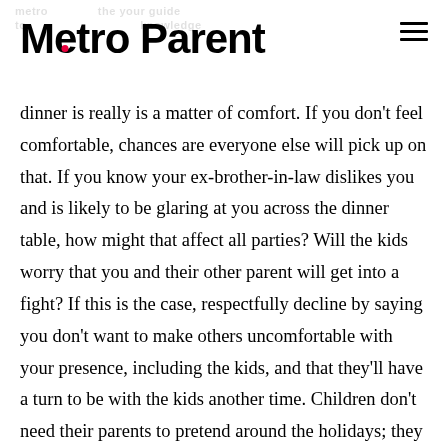Metro Parent
dinner is really is a matter of comfort. If you don't feel comfortable, chances are everyone else will pick up on that. If you know your ex-brother-in-law dislikes you and is likely to be glaring at you across the dinner table, how might that affect all parties? Will the kids worry that you and their other parent will get into a fight? If this is the case, respectfully decline by saying you don't want to make others uncomfortable with your presence, including the kids, and that they'll have a turn to be with the kids another time. Children don't need their parents to pretend around the holidays; they just need permission to love, appreciate and enjoy being with whatever family members they spend time with.